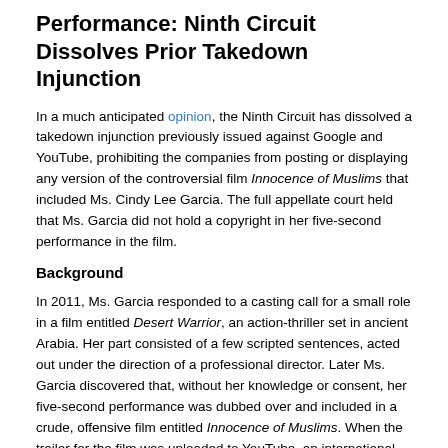Performance: Ninth Circuit Dissolves Prior Takedown Injunction
In a much anticipated opinion, the Ninth Circuit has dissolved a takedown injunction previously issued against Google and YouTube, prohibiting the companies from posting or displaying any version of the controversial film Innocence of Muslims that included Ms. Cindy Lee Garcia. The full appellate court held that Ms. Garcia did not hold a copyright in her five-second performance in the film.
Background
In 2011, Ms. Garcia responded to a casting call for a small role in a film entitled Desert Warrior, an action-thriller set in ancient Arabia. Her part consisted of a few scripted sentences, acted out under the direction of a professional director. Later Ms. Garcia discovered that, without her knowledge or consent, her five-second performance was dubbed over and included in a crude, offensive film entitled Innocence of Muslims. When the trailer for the film was uploaded to YouTube, an international uproar ensued. After Ms. Garcia received death threats, she sent a DMCA takedown notice to Google, claiming that YouTube's broadcast of the film infringed her copyright in her "audio visual dramatic performance." When Google declined to remove the